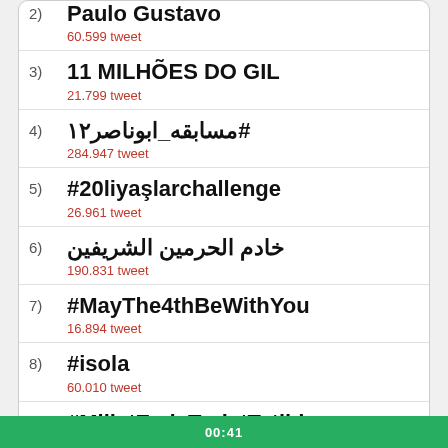2) Paulo Gustavo
60.599 tweet
3) 11 MILHÕES DO GIL
21.799 tweet
4) #مسابقه_ابوناصر٢١
284.947 tweet
5) #20liyaşlarchallenge
26.961 tweet
6) خادم الحرمين الشريفين
190.831 tweet
7) #MayThe4thBeWithYou
16.894 tweet
8) #isola
60.010 tweet
9) #MilletEvdeTuristTatilde
150.735 tweet
10) SEXOOO